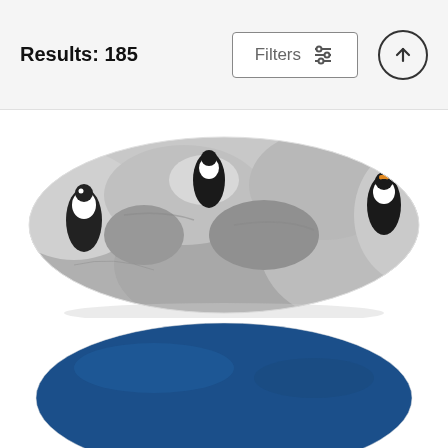Results: 185
[Figure (photo): Throw pillow product image showing penguins on rocky terrain]
Auk Island Throw Pillow
Bruce J Robinson
$27 (original price, strikethrough) $22 (sale price)
[Figure (photo): Blue throw pillow product image, partially visible at bottom of page]